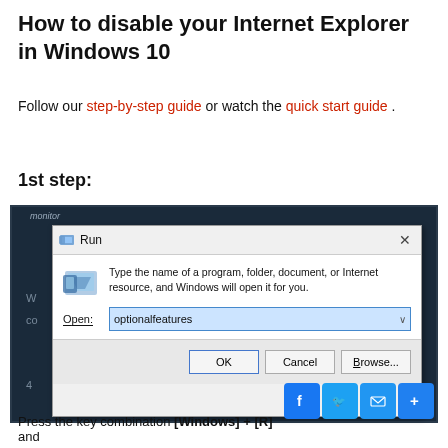How to disable your Internet Explorer in Windows 10
Follow our step-by-step guide or watch the quick start guide .
1st step:
[Figure (screenshot): Windows 10 Run dialog box with 'optionalfeatures' typed in the Open field, showing OK, Cancel, and Browse buttons]
Press the key combination [Windows] + [R] and